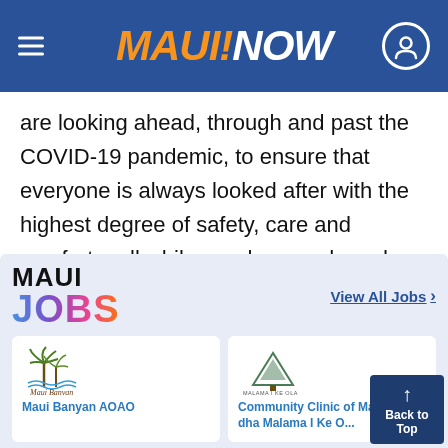MAUI NOW
are looking ahead, through and past the COVID-19 pandemic, to ensure that everyone is always looked after with the highest degree of safety, care and comfort – all while we share and exude the spirit of Aloha," said Pye.
[Figure (logo): Maui Jobs logo with colorful gradient 'JOBS' text below bold black 'MAUI' text]
View All Jobs >
[Figure (logo): Maui Banyan Resort logo with palm tree graphic and cursive text]
Maui Banyan AOAO
[Figure (logo): Malama I Ke Ola Health Center logo with tree/mountain graphic]
Community Clinic of Maui, Inc. dha Malama I Ke O...